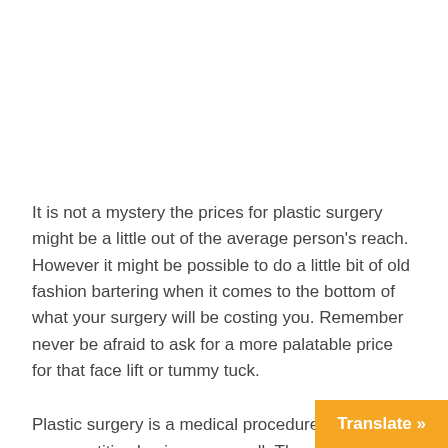It is not a mystery the prices for plastic surgery might be a little out of the average person's reach. However it might be possible to do a little bit of old fashion bartering when it comes to the bottom of what your surgery will be costing you. Remember never be afraid to ask for a more palatable price for that face lift or tummy tuck.
Plastic surgery is a medical procedure but it is also a competitive business, as well. The doctors are competing for your business so you do have some co…